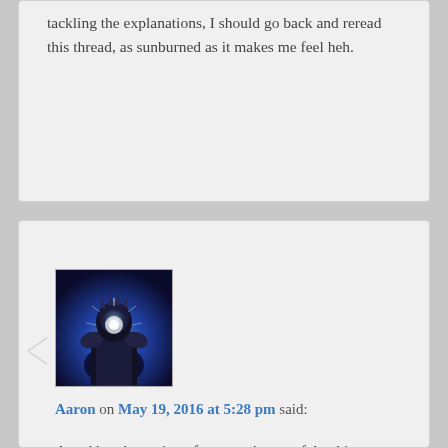tackling the explanations, I should go back and reread this thread, as sunburned as it makes me feel heh.
[Figure (photo): Avatar image of user Aaron: dark fantasy armored character with glowing light effect]
Aaron on May 19, 2016 at 5:28 pm said:
Attacking the notion of consent is one of the things sexual harassment is designed to exploit.
Sexual harassment has to be predicated on whether consent is given or not. So as a practical matter, how do you determine whether consent was given or not? In the comment thread on the original OSBP post there are dozens of participants who say that everything was predicated on consent: Who is going to gainsay